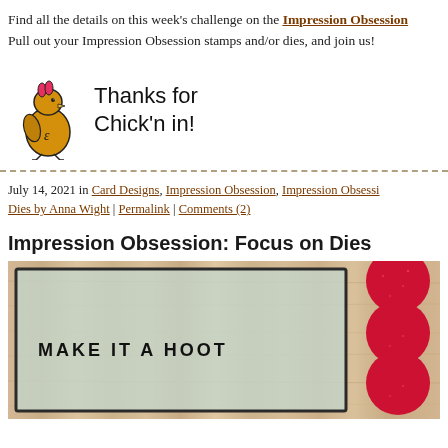Find all the details on this week's challenge on the Impression Obsession website. Pull out your Impression Obsession stamps and/or dies, and join us!
[Figure (illustration): Cartoon chicken illustration with text 'Thanks for Chick'n in!' in handwritten style]
July 14, 2021 in Card Designs, Impression Obsession, Impression Obsession Dies by Anna Wight | Permalink | Comments (2)
Impression Obsession: Focus on Dies
[Figure (photo): Photo of a handmade greeting card on a wood background. The card reads 'MAKE IT A HOOT' with a red glitter die-cut shape resembling stacked circles on the right side.]